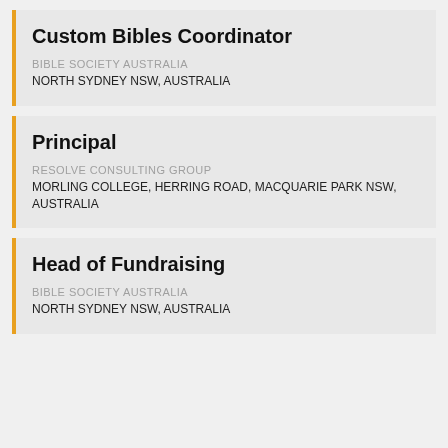Custom Bibles Coordinator
BIBLE SOCIETY AUSTRALIA
NORTH SYDNEY NSW, AUSTRALIA
Principal
RESOLVE CONSULTING GROUP
MORLING COLLEGE, HERRING ROAD, MACQUARIE PARK NSW, AUSTRALIA
Head of Fundraising
BIBLE SOCIETY AUSTRALIA
NORTH SYDNEY NSW, AUSTRALIA